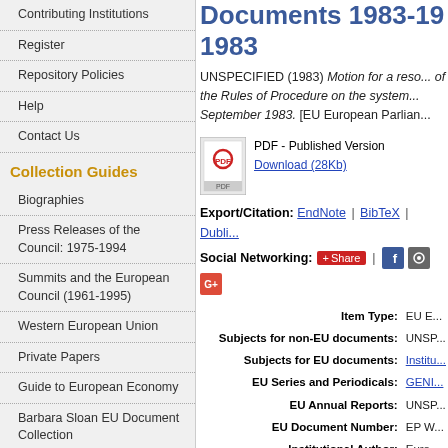Contributing Institutions
Register
Repository Policies
Help
Contact Us
Collection Guides
Biographies
Press Releases of the Council: 1975-1994
Summits and the European Council (1961-1995)
Western European Union
Private Papers
Guide to European Economy
Barbara Sloan EU Document Collection
Search and Browse
Documents 1983-19... 1983
UNSPECIFIED (1983) Motion for a reso... of the Rules of Procedure on the system... September 1983. [EU European Parlian...
PDF - Published Version
Download (28Kb)
Export/Citation: EndNote | BibTeX | Dubli...
Social Networking: Share
| Field | Value |
| --- | --- |
| Item Type: | EU E... |
| Subjects for non-EU documents: | UNSP... |
| Subjects for EU documents: | Institu... |
| EU Series and Periodicals: | GENI... |
| EU Annual Reports: | UNSP... |
| EU Document Number: | EP W... |
| Institutional Author: | Euro... |
| Depositing User: | Phil... |